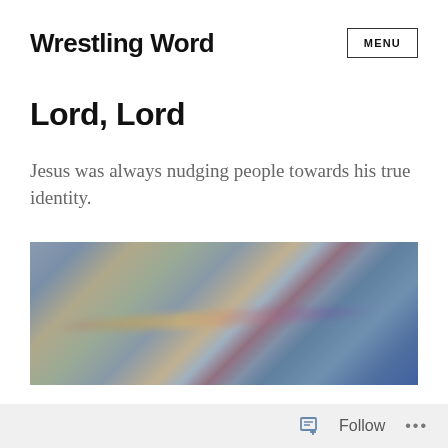Wrestling Word
Lord, Lord
Jesus was always nudging people towards his true identity.
[Figure (photo): Abstract blurry photo of sky with muted colors of blue, grey, brown and a faint rainbow streak across the middle]
Follow ...